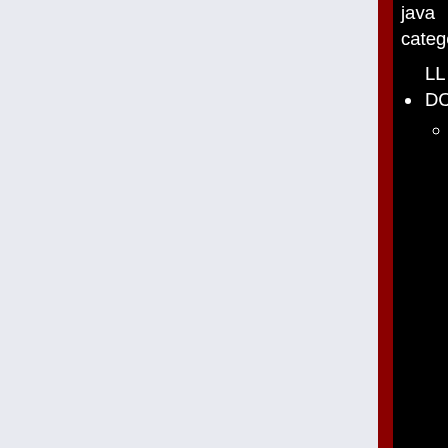java category
LL DCMS
«DCP» inspired by the physical unit (Burroughs Data Communications Preprocessor (also Data Control Unit and Data Comm Processor) not the